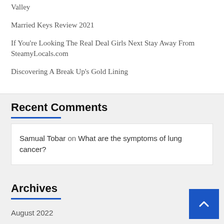Valley
Married Keys Review 2021
If You're Looking The Real Deal Girls Next Stay Away From SteamyLocals.com
Discovering A Break Up's Gold Lining
Recent Comments
Samual Tobar on What are the symptoms of lung cancer?
Archives
August 2022
July 2022